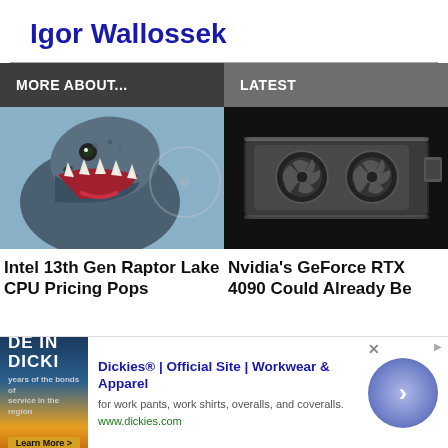Igor Wallossek
MORE ABOUT...
LATEST
[Figure (photo): Close-up photo of a raptor/dinosaur with open jaws showing teeth]
[Figure (photo): Nvidia GeForce RTX 4090 graphics card on dark background]
Intel 13th Gen Raptor Lake CPU Pricing Pops
Nvidia's GeForce RTX 4090 Could Already Be
[Figure (screenshot): Advertisement for Dickies workwear showing logo image, title, description and URL]
Dickies® | Official Site | Workwear & Apparel
for work pants, work shirts, overalls, and coveralls.
www.dickies.com